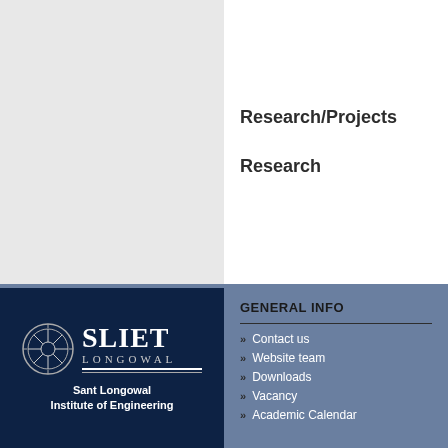[Figure (other): Left grey panel - placeholder/image area]
Research/Projects
Research
[Figure (logo): SLIET Longowal circular emblem logo with text SLIET LONGOWAL]
Sant Longowal Institute of Engineering
GENERAL INFO
Contact us
Website team
Downloads
Vacancy
Academic Calendar